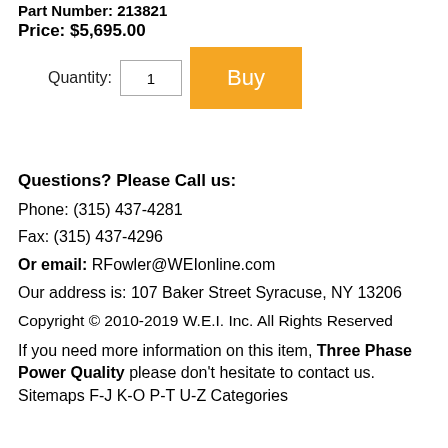Part Number: 213821
Price: $5,695.00
Quantity: [input] Buy
Questions? Please Call us:
Phone: (315) 437-4281
Fax: (315) 437-4296
Or email: RFowler@WEIonline.com
Our address is: 107 Baker Street Syracuse, NY 13206
Copyright © 2010-2019 W.E.I. Inc. All Rights Reserved
If you need more information on this item, Three Phase Power Quality  please don't hesitate to contact us.
Sitemaps F-J K-O P-T U-Z Categories